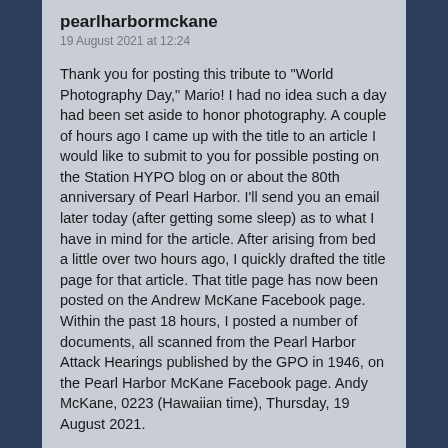pearlharbormckane
19 August 2021 at 12:24
Thank you for posting this tribute to "World Photography Day," Mario! I had no idea such a day had been set aside to honor photography. A couple of hours ago I came up with the title to an article I would like to submit to you for possible posting on the Station HYPO blog on or about the 80th anniversary of Pearl Harbor. I'll send you an email later today (after getting some sleep) as to what I have in mind for the article. After arising from bed a little over two hours ago, I quickly drafted the title page for that article. That title page has now been posted on the Andrew McKane Facebook page. Within the past 18 hours, I posted a number of documents, all scanned from the Pearl Harbor Attack Hearings published by the GPO in 1946, on the Pearl Harbor McKane Facebook page. Andy McKane, 0223 (Hawaiian time), Thursday, 19 August 2021.